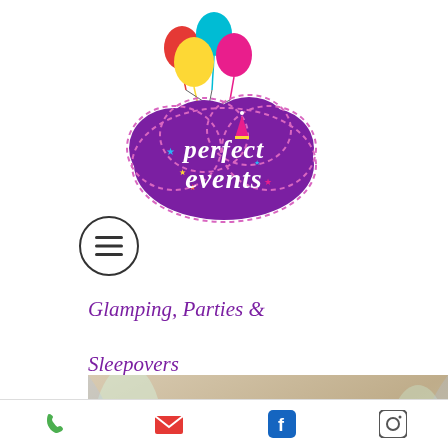[Figure (logo): Perfect Events logo: purple cloud shape with colorful balloons (red, teal, yellow, pink) above it, white cursive text reading 'perfect events' with a small party hat icon, decorative stars around the cloud, dashed purple border outline]
[Figure (other): Hamburger menu icon inside a circle]
Glamping, Parties & Sleepovers
[Figure (photo): Photo of glamping setup — wooden tray table with floral decorations and draping, with large semi-transparent text overlay reading 'Glamping' and purple italic text below: '"A better way to go camping" Kids and Adults']
Phone | Email | Facebook | Instagram icons